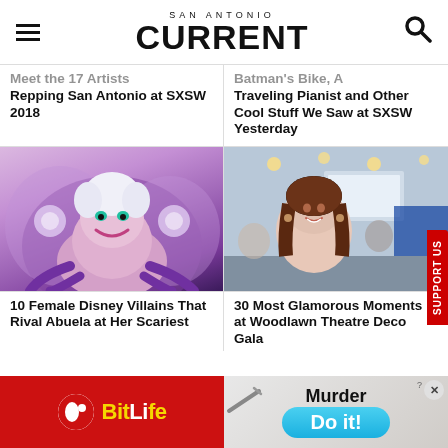SAN ANTONIO CURRENT
Meet the 17 Artists Repping San Antonio at SXSW 2018
Batman's Bike, A Traveling Pianist and Other Cool Stuff We Saw at SXSW Yesterday
[Figure (photo): Animated image of Ursula, Disney villain from The Little Mermaid, against purple/pink background]
[Figure (photo): Photo of a woman with dark hair smiling at an event, blue lighting in background]
10 Female Disney Villains That Rival Abuela at Her Scariest
30 Most Glamorous Moments at Woodlawn Theatre Deco Gala
[Figure (advertisement): BitLife app advertisement with red background and yellow BitLife logo text]
[Figure (advertisement): Game advertisement showing 'Murder' text and 'Do it!' blue button]